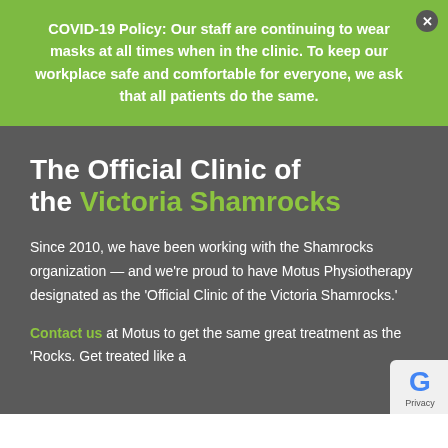COVID-19 Policy: Our staff are continuing to wear masks at all times when in the clinic. To keep our workplace safe and comfortable for everyone, we ask that all patients do the same.
The Official Clinic of the Victoria Shamrocks
Since 2010, we have been working with the Shamrocks organization — and we're proud to have Motus Physiotherapy designated as the 'Official Clinic of the Victoria Shamrocks.'
Contact us at Motus to get the same great treatment as the 'Rocks. Get treated like a